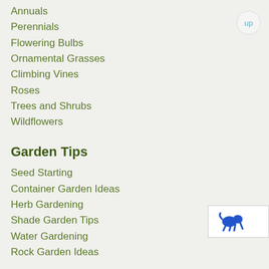Annuals
Perennials
Flowering Bulbs
Ornamental Grasses
Climbing Vines
Roses
Trees and Shrubs
Wildflowers
Garden Tips
Seed Starting
Container Garden Ideas
Herb Gardening
Shade Garden Tips
Water Gardening
Rock Garden Ideas
Garden Shopping
Buy Plants Online
[Figure (logo): Blue animal/dog logo icon, partial view at bottom right]